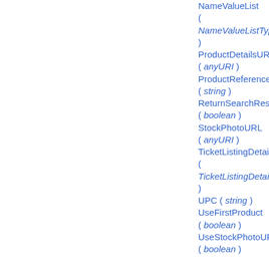NameValueList ( NameValueListType ) ProductDetailsURL ( anyURI ) ProductReferenceID ( string ) ReturnSearchResult ( boolean ) StockPhotoURL ( anyURI ) TicketListingDetails ( TicketListingDetailsType ) UPC ( string ) UseFirstProduct ( boolean ) UseStockPhotoURL ( boolean )